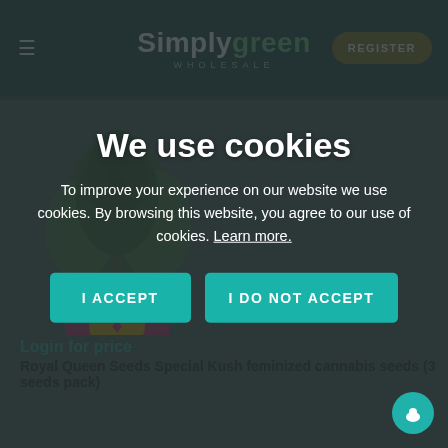Simply green WHOLESALE — REGISTER
[Figure (screenshot): Website screenshot of Simply Green Wholesale with two cannabis seed product listings partially visible behind a cookie consent modal dialog]
Login for price
Royal Queen Seeds Special Kush feminized cannabis seeds (3 seeds pack)
We use cookies
To improve your experience on our website we use cookies. By browsing this website, you agree to our use of cookies. Learn more.
I ACCEPT
I DO NOT ACCEPT
Login for price
Royal Queen Seeds Critical feminized cannabis seeds (3 seeds pack)